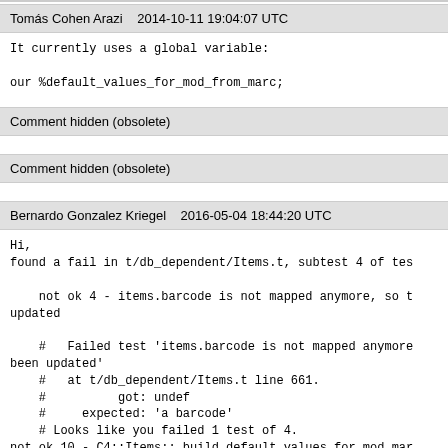Tomás Cohen Arazi   2014-10-11 19:04:07 UTC
It currently uses a global variable:

our %default_values_for_mod_from_marc;
Comment hidden (obsolete)
Comment hidden (obsolete)
Bernardo Gonzalez Kriegel   2016-05-04 18:44:20 UTC
Hi,
found a fail in t/db_dependent/Items.t, subtest 4 of tes

    not ok 4 - items.barcode is not mapped anymore, so t
updated

    #   Failed test 'items.barcode is not mapped anymore
been updated'
    #   at t/db_dependent/Items.t line 661.
    #          got: undef
    #     expected: 'a barcode'
    # Looks like you failed 1 test of 4.
not ok 10 - C4::Items::_build_default_values_for_mod_mar